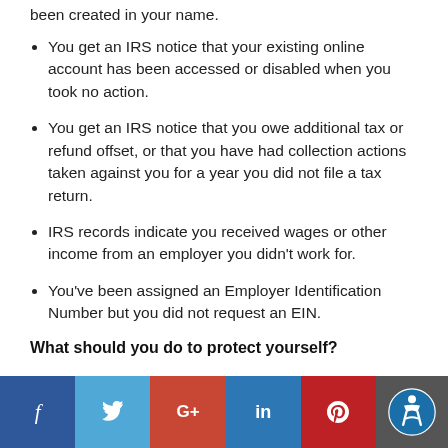been created in your name.
You get an IRS notice that your existing online account has been accessed or disabled when you took no action.
You get an IRS notice that you owe additional tax or refund offset, or that you have had collection actions taken against you for a year you did not file a tax return.
IRS records indicate you received wages or other income from an employer you didn't work for.
You've been assigned an Employer Identification Number but you did not request an EIN.
What should you do to protect yourself?
Social share bar: Facebook, Twitter, Google+, LinkedIn, Pinterest, Accessibility